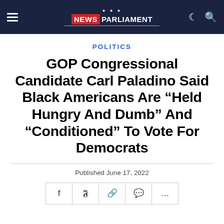News Parliament
POLITICS
GOP Congressional Candidate Carl Paladino Said Black Americans Are “Held Hungry And Dumb” And “Conditioned” To Vote For Democrats
Published June 17, 2022
[Figure (other): Social share buttons: Facebook (f), Twitter (y), link/copy, comment, more (...)]